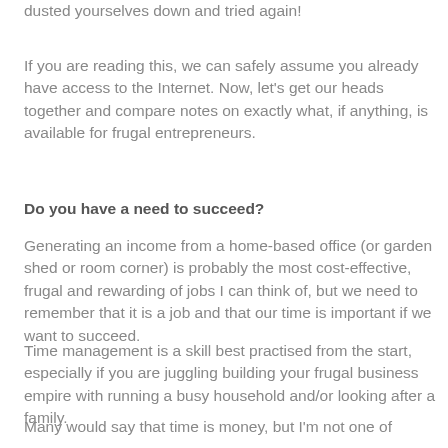dusted yourselves down and tried again!
If you are reading this, we can safely assume you already have access to the Internet. Now, let's get our heads together and compare notes on exactly what, if anything, is available for frugal entrepreneurs.
Do you have a need to succeed?
Generating an income from a home-based office (or garden shed or room corner) is probably the most cost-effective, frugal and rewarding of jobs I can think of, but we need to remember that it is a job and that our time is important if we want to succeed.
Time management is a skill best practised from the start, especially if you are juggling building your frugal business empire with running a busy household and/or looking after a family.
Many would say that time is money, but I'm not one of